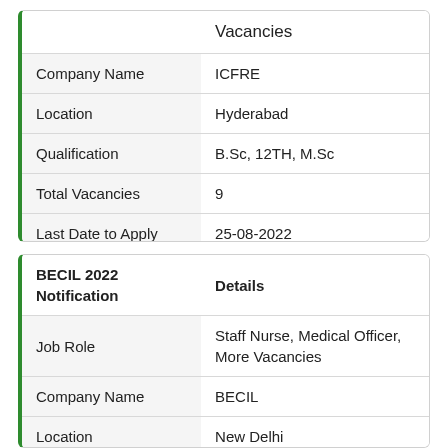|  | Vacancies |
| --- | --- |
| Company Name | ICFRE |
| Location | Hyderabad |
| Qualification | B.Sc, 12TH, M.Sc |
| Total Vacancies | 9 |
| Last Date to Apply | 25-08-2022 |
| BECIL 2022 Notification | Details |
| --- | --- |
| Job Role | Staff Nurse, Medical Officer, More Vacancies |
| Company Name | BECIL |
| Location | New Delhi |